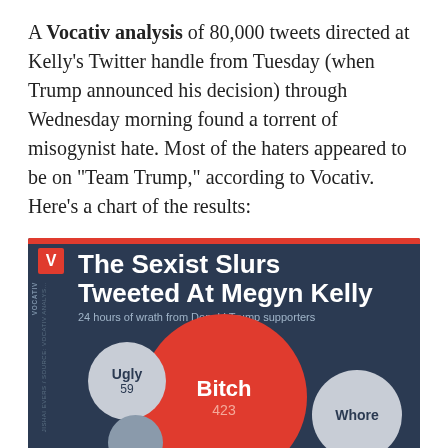A Vocativ analysis of 80,000 tweets directed at Kelly's Twitter handle from Tuesday (when Trump announced his decision) through Wednesday morning found a torrent of misogynist hate. Most of the haters appeared to be on "Team Trump," according to Vocativ. Here's a chart of the results:
[Figure (bubble-chart): Bubble chart showing sexist slurs tweeted at Megyn Kelly over 24 hours from Donald Trump supporters. Largest bubble (red): Bitch 423. Small gray bubble left: Ugly 59. Gray bubble right: Whore (partially visible). Another partial bubble at bottom left.]